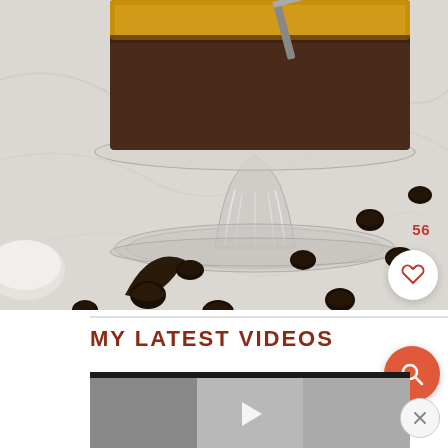[Figure (photo): A glass cake stand on a white marble surface with scattered chocolate chips. The stand holds a chocolate dessert with toppings visible at the top.]
MY LATEST VIDEOS
[Figure (screenshot): Video player thumbnail with a dark top bar and gray content area divided into three columns with a play button in the center.]